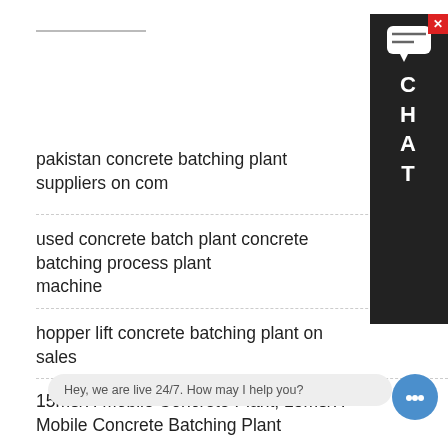pakistan concrete batching plant suppliers on com
used concrete batch plant concrete batching process plant machine
hopper lift concrete batching plant on sales
15m3/H Mobile Concrete Plant, 15m3/H Mobile Concrete Batching Plant
75 m3 h mobile concrete batching plant for sale in masbate
Concrete Slab lift type cement mix batching plant
top ten concrete batcher in sudan Batching Plants